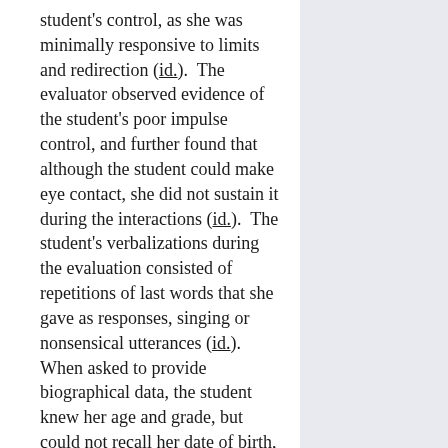student's control, as she was minimally responsive to limits and redirection (id.).  The evaluator observed evidence of the student's poor impulse control, and further found that although the student could make eye contact, she did not sustain it during the interactions (id.).  The student's verbalizations during the evaluation consisted of repetitions of last words that she gave as responses, singing or nonsensical utterances (id.).  When asked to provide biographical data, the student knew her age and grade, but could not recall her date of birth, address or telephone number, and her responses were scattered and tangential (id.).  The evaluator also commented that the student was inconsistently cooperative, did not sit still during the